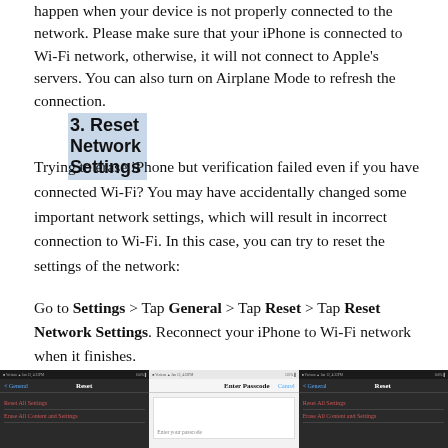happen when your device is not properly connected to the network. Please make sure that your iPhone is connected to Wi-Fi network, otherwise, it will not connect to Apple's servers. You can also turn on Airplane Mode to refresh the connection.
3. Reset Network Settings
Trying to erase iPhone but verification failed even if you have connected Wi-Fi? You may have accidentally changed some important network settings, which will result in incorrect connection to Wi-Fi. In this case, you can try to reset the settings of the network:
Go to Settings > Tap General > Tap Reset > Tap Reset Network Settings. Reconnect your iPhone to Wi-Fi network when it finishes.
[Figure (screenshot): Three iPhone screenshots showing the Reset Network Settings process: left panel shows Reset menu with options, middle panel shows Enter Passcode dialog, right panel shows Reset menu again.]